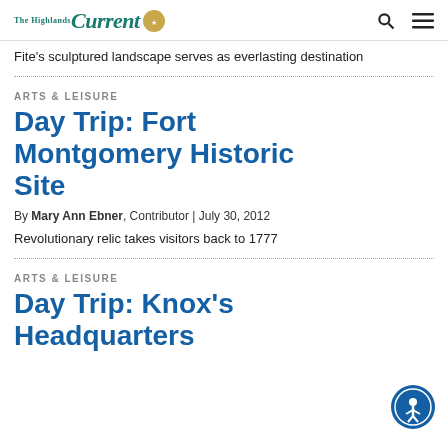The Highlands Current
Fite's sculptured landscape serves as everlasting destination
ARTS & LEISURE
Day Trip: Fort Montgomery Historic Site
By Mary Ann Ebner, Contributor | July 30, 2012
Revolutionary relic takes visitors back to 1777
ARTS & LEISURE
Day Trip: Knox's Headquarters